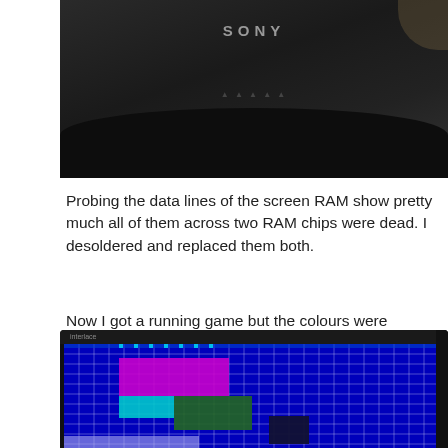[Figure (photo): Photo of a Sony CRT television/monitor, viewed from front-top angle showing the dark plastic casing with 'SONY' label visible]
Probing the data lines of the screen RAM show pretty much all of them across two RAM chips were dead. I desoldered and replaced them both.
Now I got a running game but the colours were messed up
[Figure (photo): Photo of a CRT monitor screen displaying a game with messed up colours — blue grid pattern covering the screen with a magenta/pink block, cyan block, green block, and dark block visible in the center area]